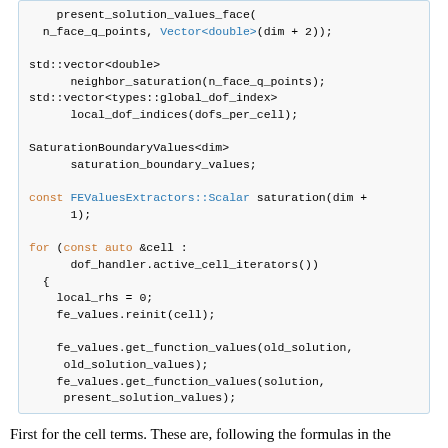[Figure (screenshot): Code block showing C++ code with variable declarations including present_solution_values_face, neighbor_saturation, local_dof_indices, SaturationBoundaryValues, const FEValuesExtractors::Scalar, and a for loop over active_cell_iterators with local_rhs, fe_values.reinit, and get_function_values calls.]
First for the cell terms. These are, following the formulas in the introduction, (S^n, σ) − (F(S^n)v^{n+1}, ∇σ), where σ is the saturation component of the test function:
[Figure (screenshot): Code block showing C++ for loops: for (unsigned int q = 0; q < n_q_points; ++q) for (unsigned int i = 0; i < dofs_per_cell; ++i) {]